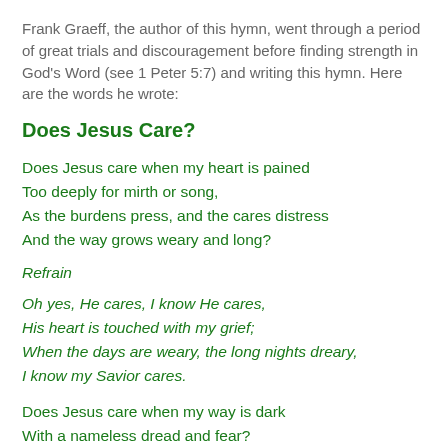Frank Graeff, the author of this hymn, went through a period of great trials and discouragement before finding strength in God's Word (see 1 Peter 5:7) and writing this hymn. Here are the words he wrote:
Does Jesus Care?
Does Jesus care when my heart is pained
Too deeply for mirth or song,
As the burdens press, and the cares distress
And the way grows weary and long?
Refrain
Oh yes, He cares, I know He cares,
His heart is touched with my grief;
When the days are weary, the long nights dreary,
I know my Savior cares.
Does Jesus care when my way is dark
With a nameless dread and fear?
As the daylight fades into deep night shades,
Does He care enough to be near?